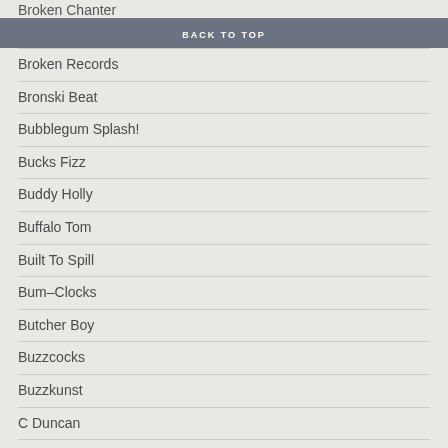Broken Chanter
BACK TO TOP
Broken Records
Bronski Beat
Bubblegum Splash!
Bucks Fizz
Buddy Holly
Buffalo Tom
Built To Spill
Bum–Clocks
Butcher Boy
Buzzcocks
Buzzkunst
C Duncan
CBI